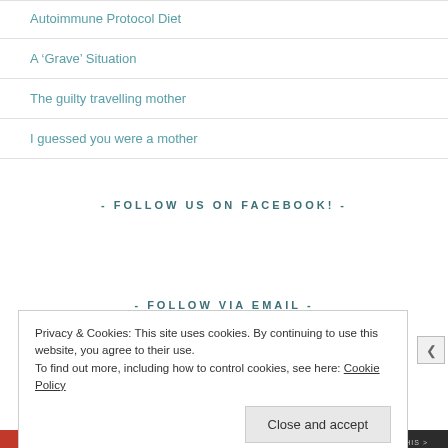Autoimmune Protocol Diet
A ‘Grave’ Situation
The guilty travelling mother
I guessed you were a mother
- FOLLOW US ON FACEBOOK! -
- FOLLOW VIA EMAIL -
Privacy & Cookies: This site uses cookies. By continuing to use this website, you agree to their use.
To find out more, including how to control cookies, see here: Cookie Policy
Close and accept